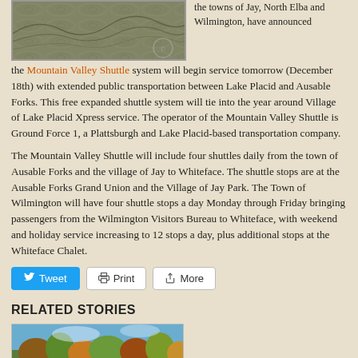[Figure (photo): Aerial or landscape photo of a mountainous or forested area, appears to be a topographical or satellite-style image]
the towns of Jay, North Elba and Wilmington, have announced the Mountain Valley Shuttle system will begin service tomorrow (December 18th) with extended public transportation between Lake Placid and Ausable Forks. This free expanded shuttle system will tie into the year around Village of Lake Placid Xpress service. The operator of the Mountain Valley Shuttle is Ground Force 1, a Plattsburgh and Lake Placid-based transportation company.
The Mountain Valley Shuttle will include four shuttles daily from the town of Ausable Forks and the village of Jay to Whiteface. The shuttle stops are at the Ausable Forks Grand Union and the Village of Jay Park. The Town of Wilmington will have four shuttle stops a day Monday through Friday bringing passengers from the Wilmington Visitors Bureau to Whiteface, with weekend and holiday service increasing to 12 stops a day, plus additional stops at the Whiteface Chalet.
RELATED STORIES
[Figure (photo): Outdoor autumn foliage photo showing trees with fall colors against a blue sky]